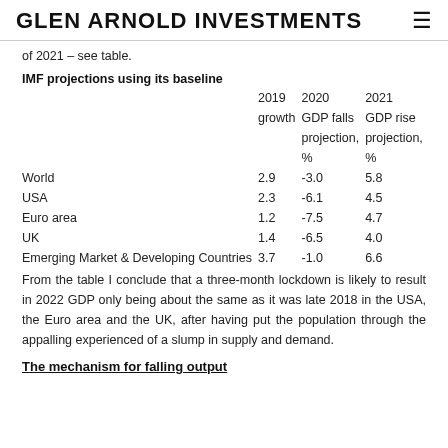GLEN ARNOLD INVESTMENTS ≡
of 2021 – see table.
IMF projections using its baseline
|  | 2019 growth | 2020 GDP falls projection, % | 2021 GDP rise projection, % |
| --- | --- | --- | --- |
| World | 2.9 | -3.0 | 5.8 |
| USA | 2.3 | -6.1 | 4.5 |
| Euro area | 1.2 | -7.5 | 4.7 |
| UK | 1.4 | -6.5 | 4.0 |
| Emerging Market & Developing Countries | 3.7 | -1.0 | 6.6 |
From the table I conclude that a three-month lockdown is likely to result in 2022 GDP only being about the same as it was late 2018 in the USA, the Euro area and the UK, after having put the population through the appalling experienced of a slump in supply and demand.
The mechanism for falling output